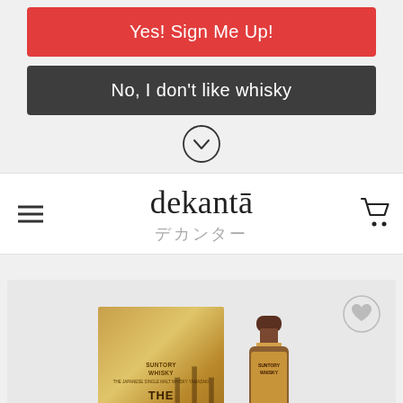Yes! Sign Me Up!
No, I don't like whisky
[Figure (other): Chevron down arrow in a circle]
dekantā デカンター
[Figure (photo): Product photo of Suntory Whisky The Yamazaki wooden box and bottle]